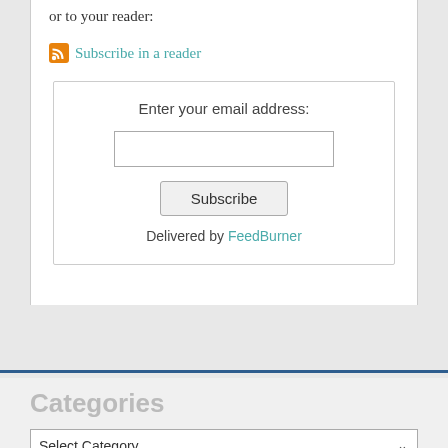or to your reader:
Subscribe in a reader
Enter your email address:
Subscribe
Delivered by FeedBurner
Categories
Select Category